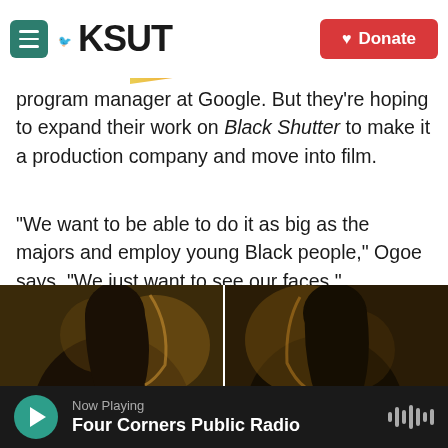KSUT
program manager at Google. But they're hoping to expand their work on Black Shutter to make it a production company and move into film.
"We want to be able to do it as big as the majors and employ young Black people," Ogoe says. "We just want to see our faces."
[Figure (photo): Two side-profile portraits of young Black men against dark golden-toned backgrounds, split into left and right panels.]
Now Playing
Four Corners Public Radio